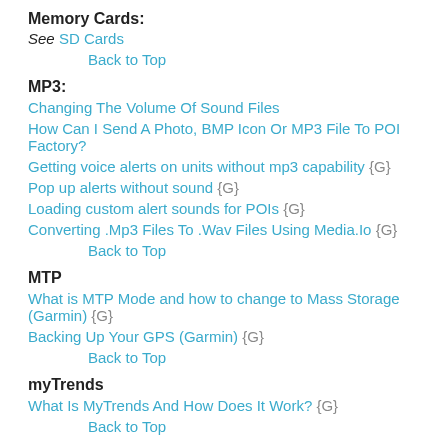Memory Cards:
See SD Cards
Back to Top
MP3:
Changing The Volume Of Sound Files
How Can I Send A Photo, BMP Icon Or MP3 File To POI Factory?
Getting voice alerts on units without mp3 capability {G}
Pop up alerts without sound {G}
Loading custom alert sounds for POIs {G}
Converting .Mp3 Files To .Wav Files Using Media.Io {G}
Back to Top
MTP
What is MTP Mode and how to change to Mass Storage (Garmin) {G}
Backing Up Your GPS (Garmin) {G}
Back to Top
myTrends
What Is MyTrends And How Does It Work? {G}
Back to Top